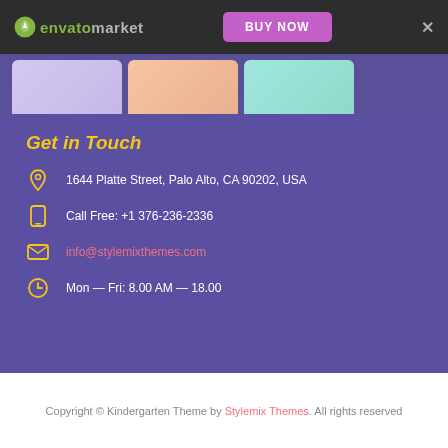envato market — BUY NOW
[Figure (screenshot): Partial image strip showing three thumbnail previews of colorful kindergarten theme pages]
Get in Touch
1644 Platte Street, Palo Alto, CA 90202, USA
Call Free: +1 376-236-2336
info@stylemixthemes.com
Mon — Fri: 8.00 AM — 18.00
Copyright © Kindergarten Theme by Stylemix Themes. All rights reserved